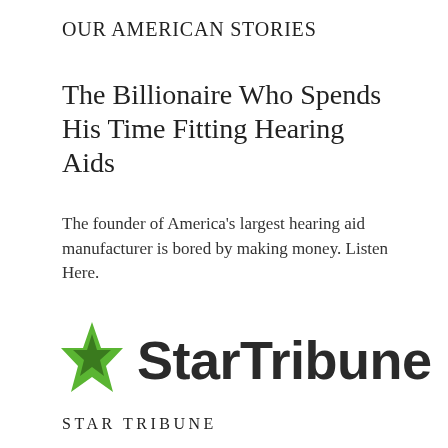OUR AMERICAN STORIES
The Billionaire Who Spends His Time Fitting Hearing Aids
The founder of America's largest hearing aid manufacturer is bored by making money. Listen Here.
[Figure (logo): Star Tribune newspaper logo: green star icon followed by 'StarTribune' in bold black sans-serif]
STAR TRIBUNE